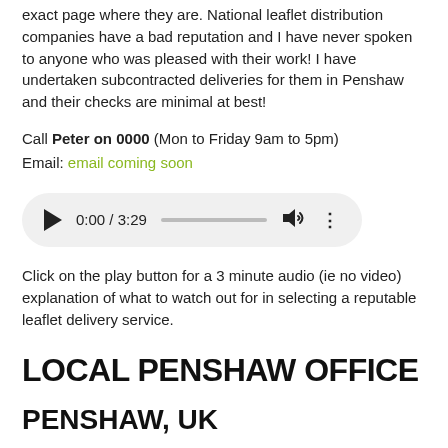exact page where they are. National leaflet distribution companies have a bad reputation and I have never spoken to anyone who was pleased with their work! I have undertaken subcontracted deliveries for them in Penshaw and their checks are minimal at best!
Call Peter on 0000 (Mon to Friday 9am to 5pm)
Email: email coming soon
[Figure (other): Audio player widget showing 0:00 / 3:29 with play button, progress bar, volume icon, and menu dots]
Click on the play button for a 3 minute audio (ie no video) explanation of what to watch out for in selecting a reputable leaflet delivery service.
LOCAL PENSHAW OFFICE
PENSHAW, UK